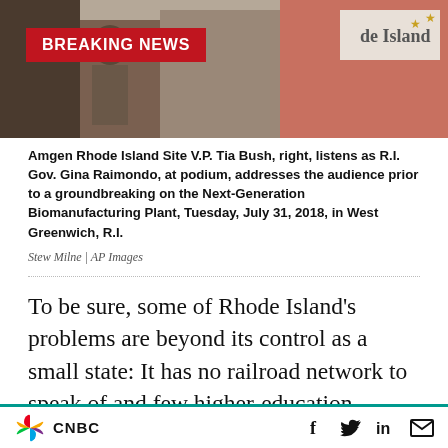[Figure (photo): Photo of Amgen Rhode Island VP Tia Bush and R.I. Gov. Gina Raimondo at a podium with a 'Rhode Island' sign in the background. A red Breaking News banner overlays the top-left of the photo.]
Amgen Rhode Island Site V.P. Tia Bush, right, listens as R.I. Gov. Gina Raimondo, at podium, addresses the audience prior to a groundbreaking on the Next-Generation Biomanufacturing Plant, Tuesday, July 31, 2018, in West Greenwich, R.I.
Stew Milne | AP Images
To be sure, some of Rhode Island’s problems are beyond its control as a small state: It has no railroad network to speak of and few higher-education institutions. Both of these factors cost the state points that it cannot afford to lose. But at the same time, the state fails to capitalize on
CNBC | social icons: Facebook, Twitter, LinkedIn, Email